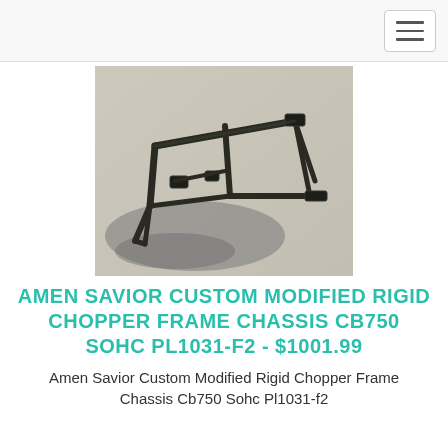[Figure (photo): Photo of a motorcycle chopper frame chassis lying on a concrete surface, viewed at angle, dark metal bare frame with shadows visible.]
AMEN SAVIOR CUSTOM MODIFIED RIGID CHOPPER FRAME CHASSIS CB750 SOHC PL1031-F2 - $1001.99
Amen Savior Custom Modified Rigid Chopper Frame Chassis Cb750 Sohc Pl1031-f2